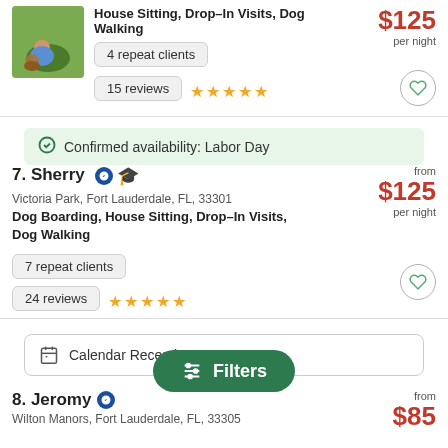[Figure (photo): Profile photo of a person crouching with a dog on grass]
House Sitting, Drop-In Visits, Dog Walking
$125 per night
4 repeat clients
15 reviews ★★★★★
✓ Confirmed availability: Labor Day
7. Sherry
Victoria Park, Fort Lauderdale, FL, 33301
Dog Boarding, House Sitting, Drop-In Visits, Dog Walking
from $125 per night
7 repeat clients
24 reviews ★★★★★
Calendar Recently
8. Jeromy
Wilton Manors, Fort Lauderdale, FL, 33305
from $85